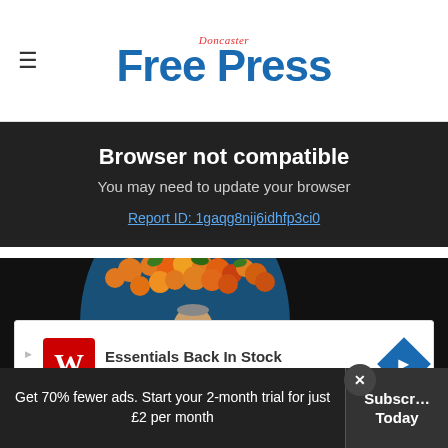Doncaster Free Press
Browser not compatible
You may need to update your browser
Report ID: 1gaqg8nij6idhfp3ci0
[Figure (photo): Man in yellow high-visibility vest standing in front of a large blue globe decorated with fruits and vegetables]
[Figure (other): Walgreens Photo advertisement: Essentials Back In Stock]
Get 70% fewer ads. Start your 2-month trial for just £2 per month
Subscribe Today